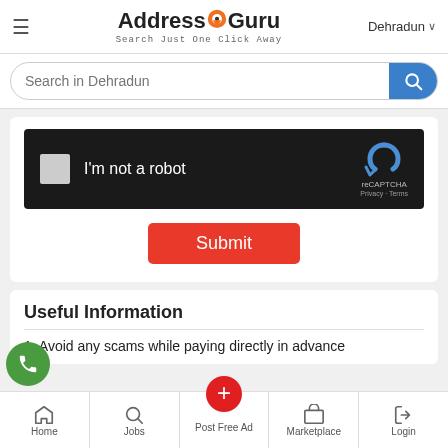Address Guru — Search Just One Click Away | Dehradun
Search in Dehradun
[Figure (screenshot): reCAPTCHA widget on dark background with checkbox, 'I'm not a robot' label, reCAPTCHA logo, Privacy and Terms links]
Submit
Useful Information
1. Avoid any scams while paying directly in advance
Home | Jobs | Post Free Ad | Marketplace | Login